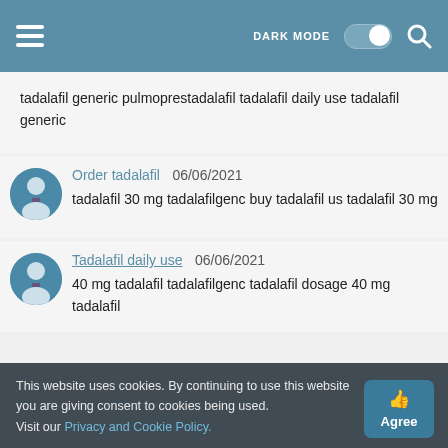DARK MODE [toggle] [search]
tadalafil generic pulmoprestadalafil tadalafil daily use tadalafil generic
Order tadalafil  06/06/2021
tadalafil 30 mg tadalafilgenc buy tadalafil us tadalafil 30 mg
Tadalafil daily use  06/06/2021
40 mg tadalafil tadalafilgenc tadalafil dosage 40 mg tadalafil
This website uses cookies. By continuing to use this website you are giving consent to cookies being used.
Visit our Privacy and Cookie Policy.